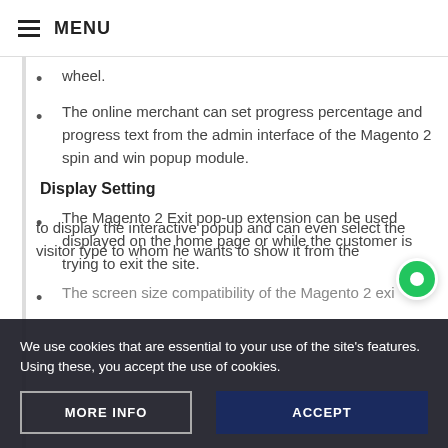MENU
wheel.
The online merchant can set progress percentage and progress text from the admin interface of the Magento 2 spin and win popup module.
Display Setting
The Magento 2 Exit pop-up extension can be used displayed on the home page or while the customer is trying to exit the site.
The screen size compatibility of the Magento 2 exi
to display the interactive popup and can even select the visitor type to whom he wants to show it from the
We use cookies that are essential to your use of the site's features. Using these, you accept the use of cookies.
MORE INFO
ACCEPT